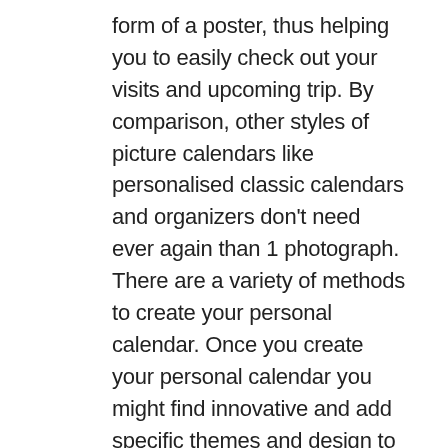form of a poster, thus helping you to easily check out your visits and upcoming trip. By comparison, other styles of picture calendars like personalised classic calendars and organizers don’t need ever again than 1 photograph.
There are a variety of methods to create your personal calendar. Once you create your personal calendar you might find innovative and add specific themes and design to certain calendar months. The majority of us are aware it is possible to make your personal calendar utilizing program on your pc You simply devote the year you will need and the software applications creates it for you personally.
The fantastic part about creating your personal calendar is you are able to beautify